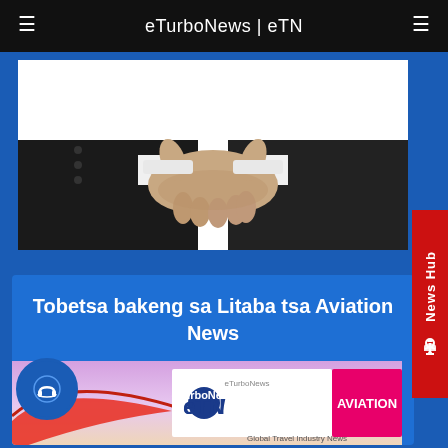eTurboNews | eTN
[Figure (photo): Two people in business attire shaking hands against a white background]
News Hub
Tobetsa bakeng sa Litaba tsa Aviation News
[Figure (logo): eTN Global Travel Industry News logo with AVIATION text on pink/magenta background, with airplane wing visible]